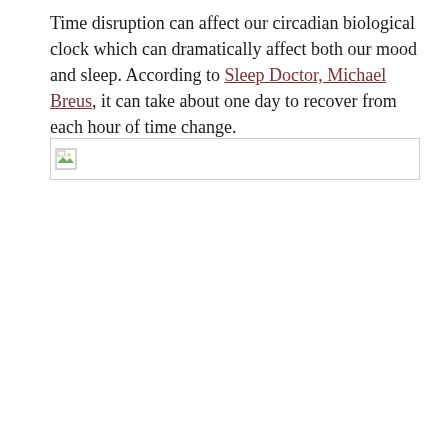Time disruption can affect our circadian biological clock which can dramatically affect both our mood and sleep. According to Sleep Doctor, Michael Breus, it can take about one day to recover from each hour of time change.
[Figure (photo): Broken/unloaded image placeholder shown as a small icon with border]